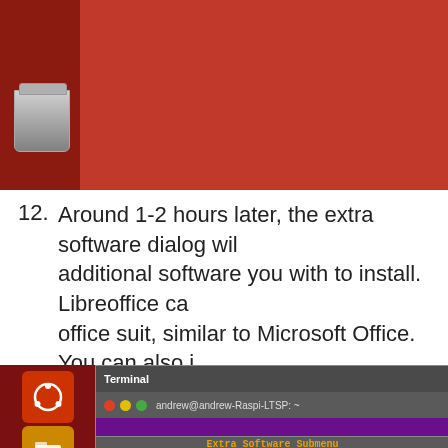[Figure (screenshot): Ubuntu desktop screenshot showing sidebar with trash icon on dark red background]
12. Around 1-2 hours later, the extra software dialog will appear asking you what additional software you with to install. Libreoffice can be installed as it is an office suit, similar to Microsoft Office. You can also install any package from the repositories if you know its full name. Once you have made your selections, carry on.
[Figure (screenshot): Ubuntu Terminal window showing Extra Software Submenu with options: Install-Libreoffice (highlighted in red), Install-MinecraftPi, Install-Arduino, Install-Scratch-gpio, Install-Python-hardware, Install-Custom-package]